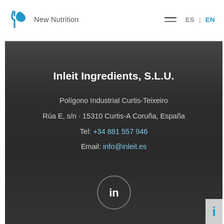[Figure (logo): Inleit New Nutrition logo — blue fork/sprig icon with grey text 'New Nutrition']
ES | EN
Inleit Ingredients, S.L.U.
Polígono Industrial Curtis-Teixeiro
Rúa E, s/n · 15310 Curtis-A Coruña, España
Tel: +34 881 557 946
Email: info@inleit.es
[Figure (logo): LinkedIn circular icon (in logo in circle outline) on dark background]